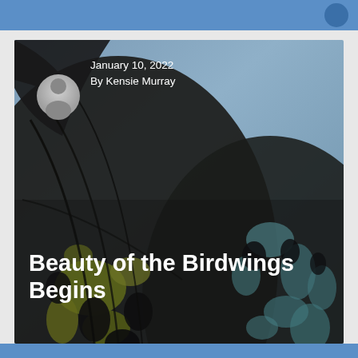[Figure (photo): Close-up macro photograph of a birdwing butterfly wing, showing detailed patterns of dark black, yellow-green, and light blue markings on the wing scales, with a blurred grey-green background.]
January 10, 2022
By Kensie Murray
Beauty of the Birdwings Begins